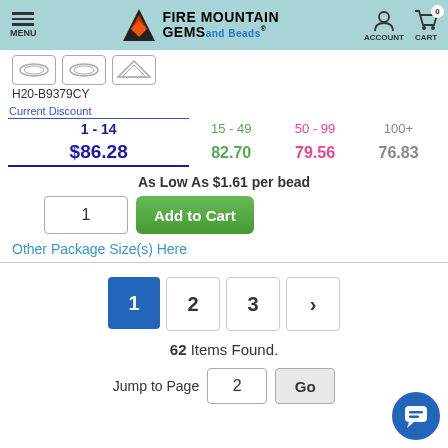Fire Mountain Gems and Beads - MENU | ACCOUNT | CART 0
[Figure (screenshot): Three small thumbnail product images of beads/jewelry components]
H20-B9379CY
| Current Discount | 15 - 49 | 50 - 99 | 100+ |
| --- | --- | --- | --- |
| 1 - 14 | 15 - 49 | 50 - 99 | 100+ |
| $86.28 | 82.70 | 79.56 | 76.83 |
As Low As $1.61 per bead
1  [Add to Cart]
Other Package Size(s) Here
1  2  3  >
62 Items Found.
Jump to Page  2  Go